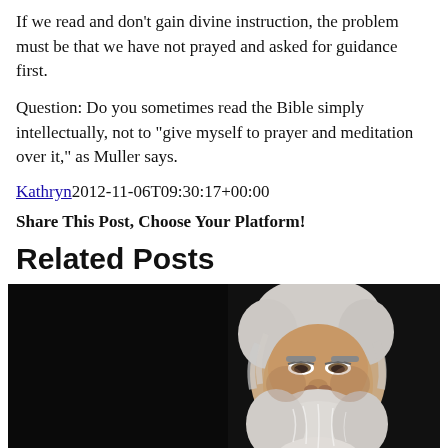If we read and don’t gain divine instruction, the problem must be that we have not prayed and asked for guidance first.
Question: Do you sometimes read the Bible simply intellectually, not to “give myself to prayer and meditation over it,” as Muller says.
Kathryn 2012-11-06T09:30:17+00:00
Share This Post, Choose Your Platform!
Related Posts
[Figure (photo): An elderly man with a large white beard and white hair, wearing a dark suit, photographed against a dark/black background.]